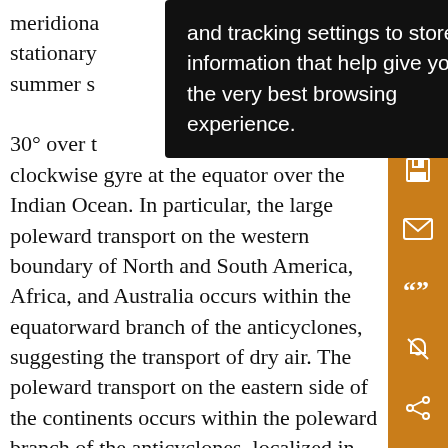meridiona... stationary... summer s... and 30° over t... clockwise gyre at the equator over the Indian Ocean. In particular, the large poleward transport on the western boundary of North and South America, Africa, and Australia occurs within the equatorward branch of the anticyclones, suggesting the transport of dry air. The poleward transport on the eastern side of the continents occurs within the poleward branch of the anticyclones, localized in some places as poleward flowing low-level jets (e.g., the Great Plains jet in North America and the Pampas jet in South America) that transport specific humidity poleward into the monsoon region. Over the Indian Ocean, there are two clockwise gyres at 50° and
[Figure (screenshot): Black tooltip overlay with white text reading: 'and tracking settings to store information that help give you the very best browsing experience.']
[Figure (infographic): Orange vertical sidebar with four white icons: save/floppy disk, envelope/email, quotation marks, notification bell crossed out, and share/network icon.]